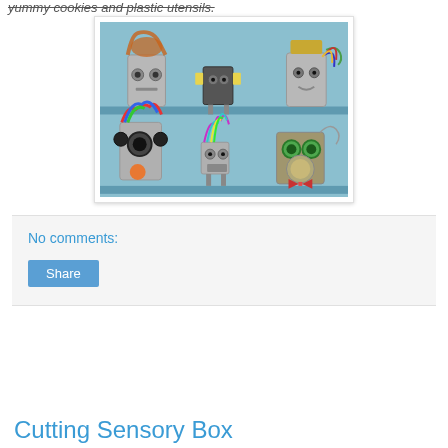yummy cookies and plastic utensils.
[Figure (photo): Six robot figures made from tin cans displayed on two shelves against a blue background. Top shelf has three robots with various decorative elements. Bottom shelf has three more robots with colorful wire hair and accessories.]
No comments:
Share
Cutting Sensory Box